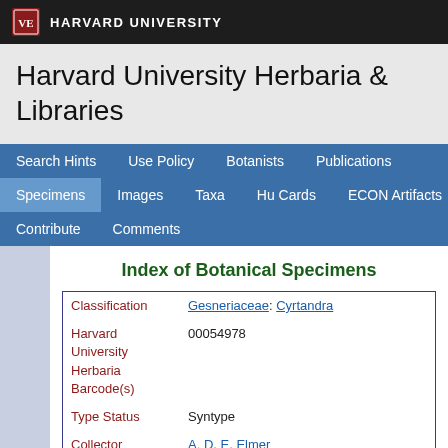HARVARD UNIVERSITY
Harvard University Herbaria & Libraries
Search Hints | Use Policy | Botanists | Publications | Specimens | Images | Taxa | Hu Cards | ECON Artifacts | Contribute | Comments
Index of Botanical Specimens
| Field | Value |
| --- | --- |
| Classification | Gesneriaceae: Cyrtandra |
| Harvard University Herbaria Barcode(s) | 00054978 |
| Type Status | Syntype |
| Collector | A. D. E. Elmer |
| Collector number | 11585 |
| Country | Philippines |